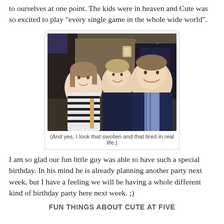to ourselves at one point. The kids were in heaven and Cute was so excited to play "every single game in the whole wide world".
[Figure (photo): Family photo of a woman, a young boy, and a man sitting together at an arcade or entertainment venue. The woman wears a striped top, the boy is in the middle, and the man wears a vest. Indoor venue with ceiling lights visible in background.]
(And yes, I look that swollen and that tired in real life.)
I am so glad our fun little guy was able to have such a special birthday. In his mind he is already planning another party next week, but I have a feeling we will be having a whole different kind of birthday party here next week. ;)
FUN THINGS ABOUT CUTE AT FIVE